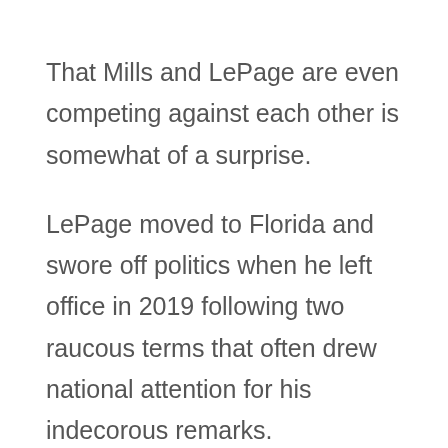That Mills and LePage are even competing against each other is somewhat of a surprise.
LePage moved to Florida and swore off politics when he left office in 2019 following two raucous terms that often drew national attention for his indecorous remarks.
But the draw of elected office was apparently too great. By 2020, he was back in Maine pledging to challenge his old nemesis.